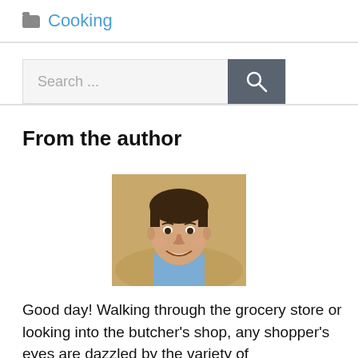Cooking
[Figure (screenshot): Search bar with text 'Search ...' and a dark search button with magnifying glass icon]
From the author
[Figure (photo): Headshot of a young man with dark hair, smiling, wearing a blue shirt]
Good day! Walking through the grocery store or looking into the butcher's shop, any shopper's eyes are dazzled by the variety of